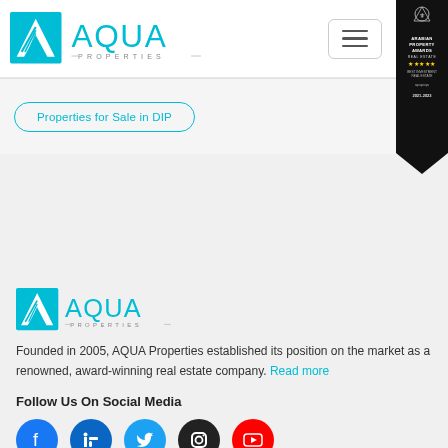[Figure (logo): AQUA Properties logo with blue triangle icon and text AQUA PROPERTIES]
[Figure (logo): Arabian Property Awards ribbon banner, black with gold crest and stars, 2021-2023]
Properties for Sale in DIP
[Figure (logo): AQUA Properties logo (bottom, larger version)]
Founded in 2005, AQUA Properties established its position on the market as a renowned, award-winning real estate company. Read more
Follow Us On Social Media
[Figure (infographic): Social media icons: Facebook, LinkedIn, Twitter, Instagram, YouTube]